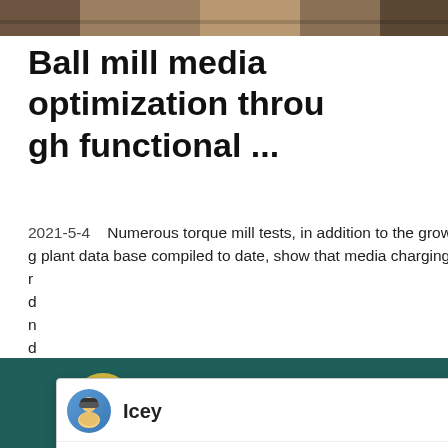[Figure (photo): Top banner image showing industrial/mining scene]
Ball mill media optimization through functional ...
2021-5-4   Numerous torque mill tests, in addition to the growing plant data base compiled to date, show that media charging near ...
[Figure (screenshot): Chat popup from Icey at Liming Heavy Industry: Welcome to Liming Heavy Industry! Now our on-line service is chatting with you! Please choose the language :]
Capacity
371T/H
Reviews
[Figure (other): Five orange star ratings]
[Figure (screenshot): Right side widget showing ball mill visualization with badge number 1 and Click me to chat button and Enquiry footer]
Chat Online